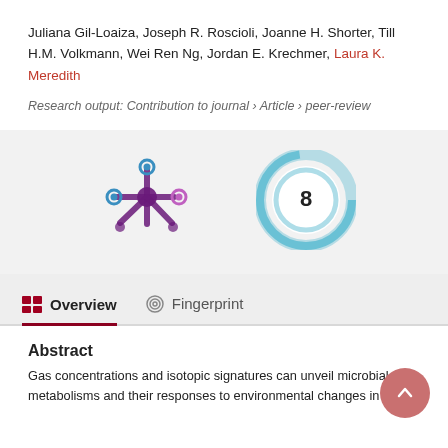Juliana Gil-Loaiza, Joseph R. Roscioli, Joanne H. Shorter, Till H.M. Volkmann, Wei Ren Ng, Jordan E. Krechmer, Laura K. Meredith
Research output: Contribution to journal › Article › peer-review
[Figure (infographic): Altmetric score logo (star/molecule icon) on the left and a circular citation badge showing the number 8 on the right, displayed on a light grey background.]
Overview | Fingerprint (tab navigation)
Abstract
Gas concentrations and isotopic signatures can unveil microbial metabolisms and their responses to environmental changes in